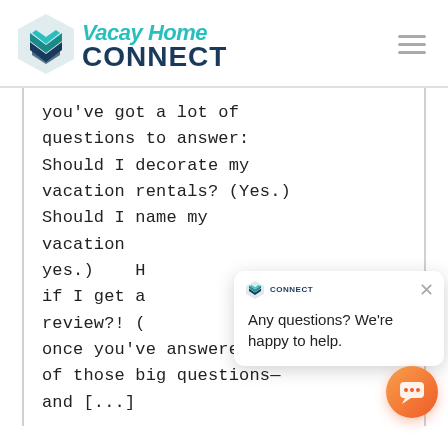[Figure (logo): VacayHome Connect logo with teal hexagon icon and teal/dark blue text]
you've got a lot of questions to answer: Should I decorate my vacation rentals? (Yes.) Should I name my vacation rental? (Also yes.) How do I handle if I get a bad review?! (... once you've answered all of those big questions—and [...]
[Figure (screenshot): Chat popup overlay with VacayHome Connect logo, close button (×), and text 'Any questions? We're happy to help.' along with an orange chat bubble button in the bottom right.]